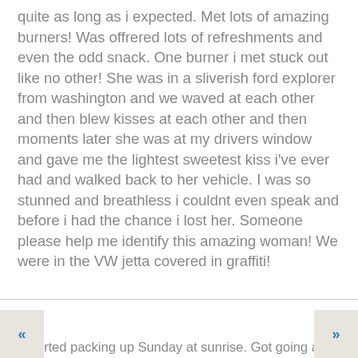quite as long as i expected. Met lots of amazing burners! Was offrered lots of refreshments and even the odd snack. One burner i met stuck out like no other! She was in a sliverish ford explorer from washington and we waved at each other and then blew kisses at each other and then moments later she was at my drivers window and gave me the lightest sweetest kiss i've ever had and walked back to her vehicle. I was so stunned and breathless i couldnt even speak and before i had the chance i lost her. Someone please help me identify this amazing woman! We were in the VW jetta covered in graffiti!
Report comment
John (peabody) Lackner says: September 11, 2009 at 7:02 pm
rted packing up Sunday at sunrise. Got going at